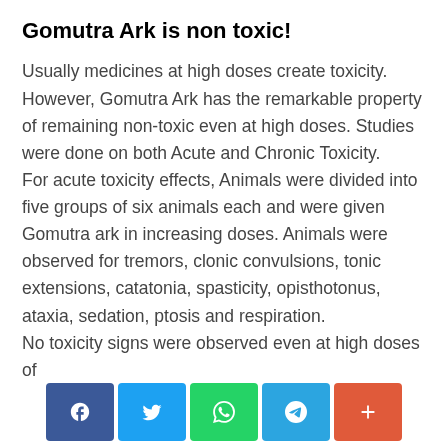Gomutra Ark is non toxic!
Usually medicines at high doses create toxicity. However, Gomutra Ark has the remarkable property of remaining non-toxic even at high doses. Studies were done on both Acute and Chronic Toxicity.
For acute toxicity effects, Animals were divided into five groups of six animals each and were given Gomutra ark in increasing doses. Animals were observed for tremors, clonic convulsions, tonic extensions, catatonia, spasticity, opisthotonus, ataxia, sedation, ptosis and respiration.
No toxicity signs were observed even at high doses of